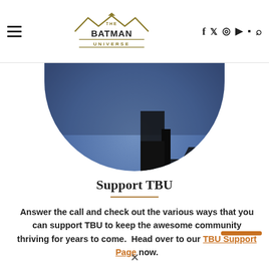The Batman Universe — navigation header with hamburger menu, logo, social icons (f, twitter, instagram, youtube, discord), and search
[Figure (photo): Circular cropped photo showing a dark silhouette (Batman-like figure) against a blue sky, only bottom half of circle visible]
Support TBU
Answer the call and check out the various ways that you can support TBU to keep the awesome community thriving for years to come.  Head over to our TBU Support Page now.